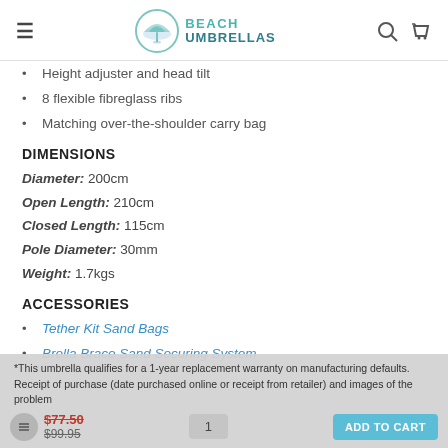Beach Umbrellas
Height adjuster and head tilt
8 flexible fibreglass ribs
Matching over-the-shoulder carry bag
DIMENSIONS
Diameter: 200cm
Open Length: 210cm
Closed Length: 115cm
Pole Diameter: 30mm
Weight: 1.7kgs
ACCESSORIES
Tether Kit Sand Bags
Brella Brace Sand Securing System
*This umbrella qualifies for a 1-year replacement warranty on manufacturing defaults. Receipt of purchase (date purchased online or receipt from retailer) and images of the problem
$77.50
$99.95
1
ADD TO CART